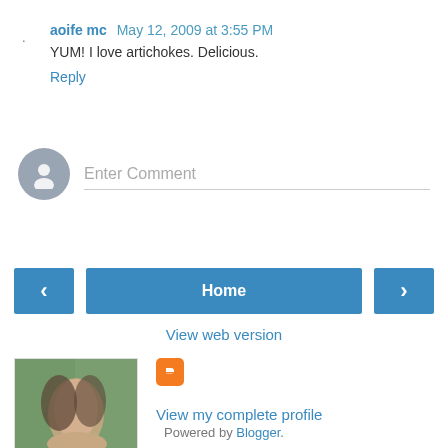aoife mc  May 12, 2009 at 3:55 PM
YUM! I love artichokes. Delicious.
Reply
[Figure (other): Enter Comment input box with avatar placeholder]
[Figure (other): Navigation buttons: left arrow, Home, right arrow]
View web version
[Figure (photo): Profile photo of a woman with curly hair, outdoors]
View my complete profile
Powered by Blogger.